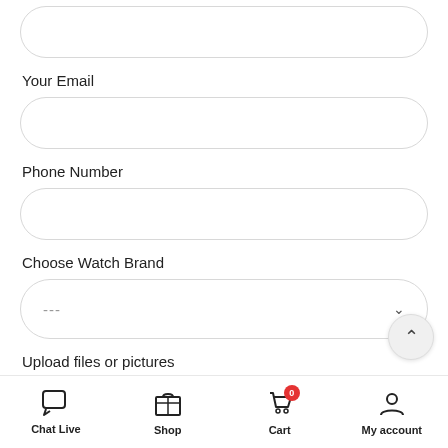[Figure (screenshot): Partially visible form input field at top of page (no label visible)]
Your Email
[Figure (screenshot): Empty rounded text input field for email]
Phone Number
[Figure (screenshot): Empty rounded text input field for phone number]
Choose Watch Brand
[Figure (screenshot): Dropdown selector showing '---' placeholder with chevron arrow]
Upload files or pictures
[Figure (screenshot): File input showing Choose File button and 'No file chosen' text]
Chat Live  Shop  Cart  My account